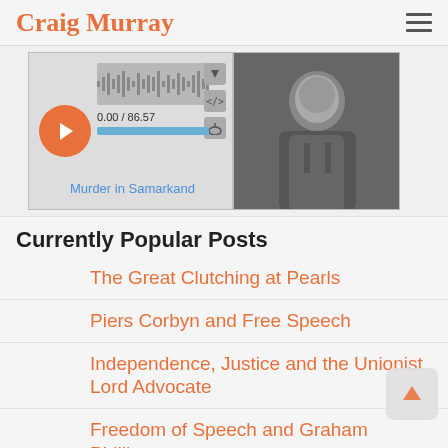Craig Murray
[Figure (screenshot): Audio player widget showing waveform, play button, time 0.00/86.57, and a photo of a man in a dark jacket. Below the player is a link reading 'Murder in Samarkand'.]
Currently Popular Posts
The Great Clutching at Pearls
Piers Corbyn and Free Speech
Independence, Justice and the Unionist Lord Advocate
Freedom of Speech and Graham Phillips
Insulate, Insulate
Ever Further Right
About Craig Murray
Pure: Ten Points I Just Can't Believe About the Official Skripal Narrative